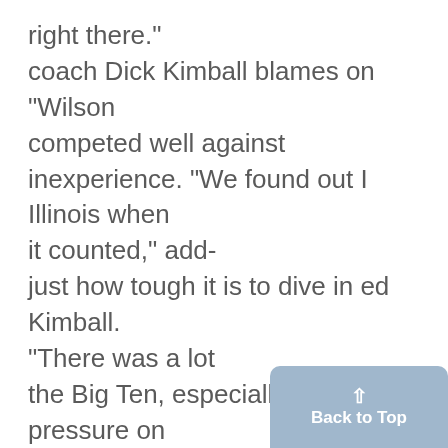right there." coach Dick Kimball blames on "Wilson competed well against inexperience. "We found out I Illinois when it counted," add- just how tough it is to dive in ed Kimball. "There was a lot the Big Ten, especially in the of pressure on him." away meets," Kimball said. "I NEED a lot of work on "The adjustment to a different my boardwork and more consis- board is really tough." tency," Wilson said in
[Figure (other): Back to Top button — a rounded blue box with an upward arrow and the text 'Back to Top']